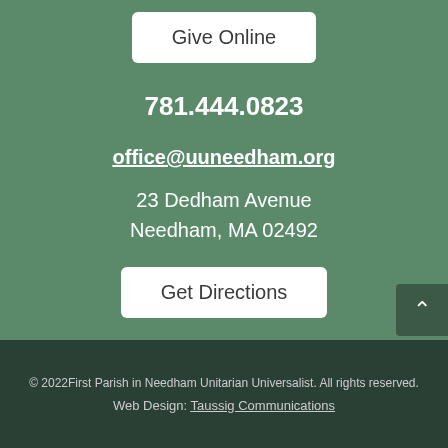Give Online
781.444.0823
office@uuneedham.org
23 Dedham Avenue
Needham, MA 02492
Get Directions
© 2022First Parish in Needham Unitarian Universalist. All rights reserved.
Web Design: Taussig Communications